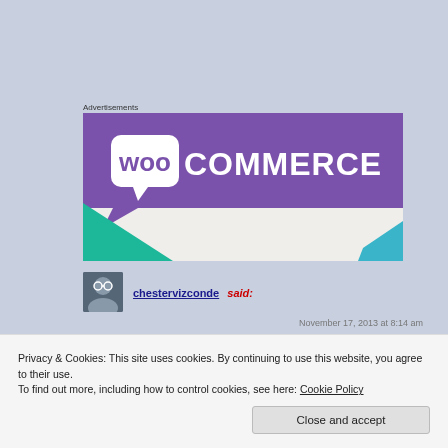Advertisements
[Figure (logo): WooCommerce logo on purple and white background with teal and blue accent shapes]
chestervizconde said:
November 17, 2013 at 8:14 am
Privacy & Cookies: This site uses cookies. By continuing to use this website, you agree to their use.
To find out more, including how to control cookies, see here: Cookie Policy
Close and accept